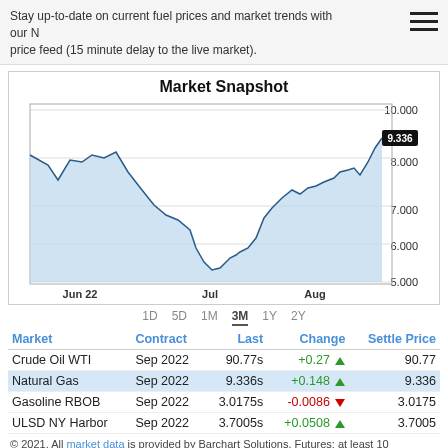Stay up-to-date on current fuel prices and market trends with our N price feed (15 minute delay to the live market).
Market Snapshot
[Figure (area-chart): Area chart showing price trend from Jun 22 to Aug, ranging from about 5.000 to 10.000, with current value 9.336 highlighted]
1D  5D  1M  3M  1Y  2Y
| Market | Contract | Last | Change | Settle Price |
| --- | --- | --- | --- | --- |
| Crude Oil WTI | Sep 2022 | 90.77s | +0.27 ▲ | 90.77 |
| Natural Gas | Sep 2022 | 9.336s | +0.148 ▲ | 9.336 |
| Gasoline RBOB | Sep 2022 | 3.0175s | -0.0086 ▼ | 3.0175 |
| ULSD NY Harbor | Sep 2022 | 3.7005s | +0.0508 ▲ | 3.7005 |
© 2021. All market data is provided by Barchart Solutions. Futures: at least 10